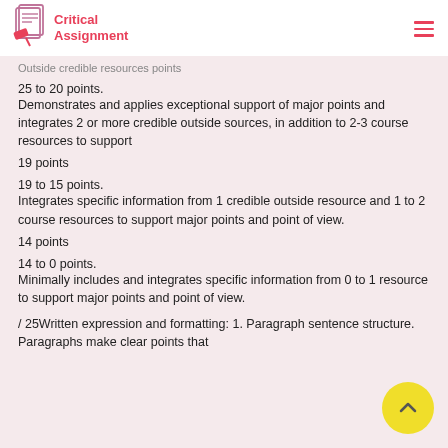Critical Assignment
Outside credible resources points
25 to 20 points.
Demonstrates and applies exceptional support of major points and integrates 2 or more credible outside sources, in addition to 2-3 course resources to support
19 points
19 to 15 points.
Integrates specific information from 1 credible outside resource and 1 to 2 course resources to support major points and point of view.
14 points
14 to 0 points.
Minimally includes and integrates specific information from 0 to 1 resource to support major points and point of view.
/ 25Written expression and formatting: 1. Paragraph sentence structure. Paragraphs make clear points that